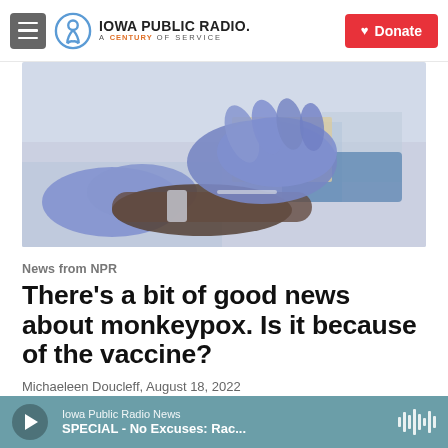Iowa Public Radio — A Century of Service | Donate
[Figure (photo): Close-up photo of hands wearing blue medical gloves, appearing to administer a vaccine or draw blood from a person's arm.]
News from NPR
There's a bit of good news about monkeypox. Is it because of the vaccine?
Michaeleen Doucleff,  August 18, 2022
It's basically the same vaccine used against
Iowa Public Radio News
SPECIAL - No Excuses: Rac...